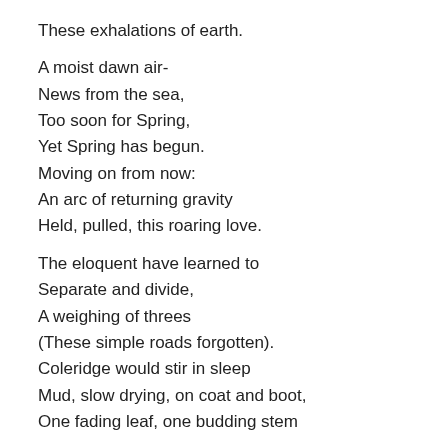These exhalations of earth.

A moist dawn air-
News from the sea,
Too soon for Spring,
Yet Spring has begun.
Moving on from now:
An arc of returning gravity
Held, pulled, this roaring love.

The eloquent have learned to
Separate and divide,
A weighing of threes
(These simple roads forgotten).
Coleridge would stir in sleep
Mud, slow drying, on coat and boot,
One fading leaf, one budding stem